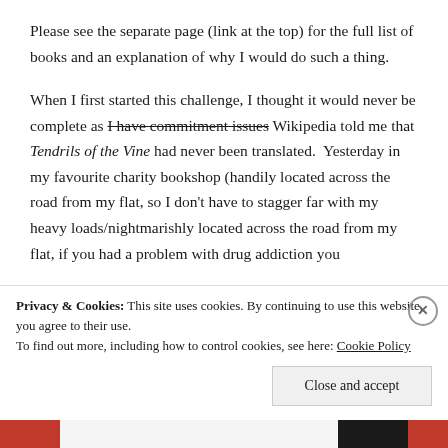Please see the separate page (link at the top) for the full list of books and an explanation of why I would do such a thing.
When I first started this challenge, I thought it would never be complete as I have commitment issues Wikipedia told me that Tendrils of the Vine had never been translated.  Yesterday in my favourite charity bookshop (handily located across the road from my flat, so I don't have to stagger far with my heavy loads/nightmarishly located across the road from my flat, if you had a problem with drug addiction you
Privacy & Cookies: This site uses cookies. By continuing to use this website, you agree to their use.
To find out more, including how to control cookies, see here: Cookie Policy
Close and accept